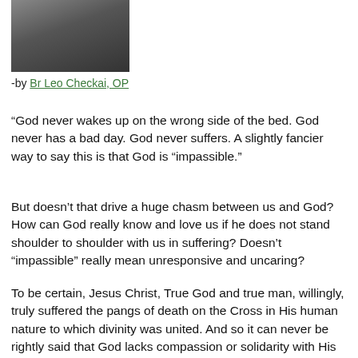[Figure (photo): Headshot photo of a person wearing dark clothing against a light background]
-by Br Leo Checkai, OP
“God never wakes up on the wrong side of the bed. God never has a bad day. God never suffers. A slightly fancier way to say this is that God is “impassible.”
But doesn’t that drive a huge chasm between us and God? How can God really know and love us if he does not stand shoulder to shoulder with us in suffering? Doesn’t “impassible” really mean unresponsive and uncaring?
To be certain, Jesus Christ, True God and true man, willingly, truly suffered the pangs of death on the Cross in His human nature to which divinity was united. And so it can never be rightly said that God lacks compassion or solidarity with His people. But in the Godhead—the divine essence—no suffering ever clouds the sunny sky of God’s perfect and eternal